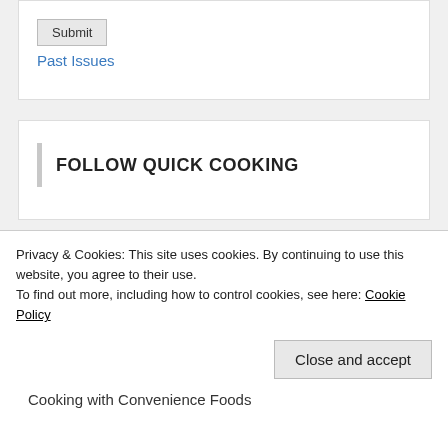Submit
Past Issues
FOLLOW QUICK COOKING
QUICK COOKING CATEGORIES
***Outdoor Grill Recipes***
***[partial text]***
Privacy & Cookies: This site uses cookies. By continuing to use this website, you agree to their use.
To find out more, including how to control cookies, see here: Cookie Policy
Close and accept
Cooking with Convenience Foods